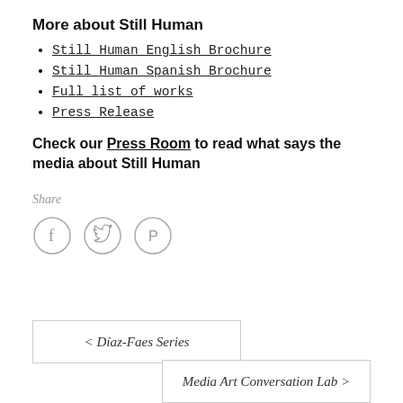More about Still Human
Still Human English Brochure
Still Human Spanish Brochure
Full list of works
Press Release
Check our Press Room to read what says the media about Still Human
Share
[Figure (infographic): Social share icons: Facebook (f), Twitter (bird), Pinterest (P) — circular outline icons in gray]
< Díaz-Faes Series
Media Art Conversation Lab >